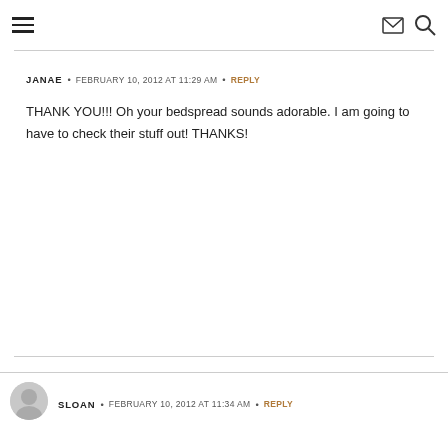Navigation header with hamburger menu, envelope icon, and search icon
JANAE • FEBRUARY 10, 2012 AT 11:29 AM • REPLY
THANK YOU!!! Oh your bedspread sounds adorable. I am going to have to check their stuff out! THANKS!
SLOAN • FEBRUARY 10, 2012 AT 11:34 AM • REPLY